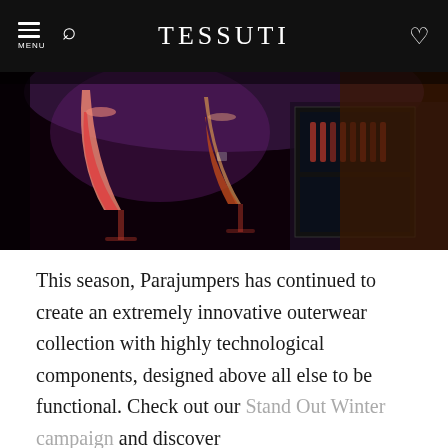TESSUTI
[Figure (photo): Two wine glasses filled with red/pink cocktails in a dimly lit bar with purple ambient lighting and a drinks refrigerator in the background.]
This season, Parajumpers has continued to create an extremely innovative outerwear collection with highly technological components, designed above all else to be functional. Check out our Stand Out Winter campaign and discover